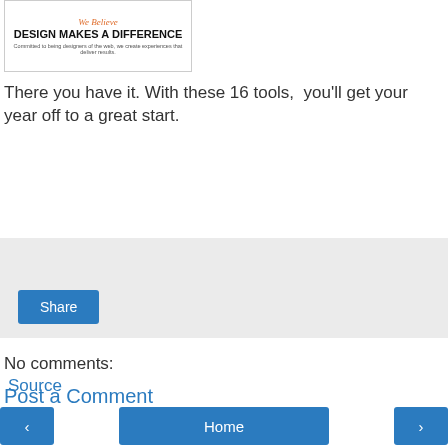[Figure (screenshot): Screenshot of a website banner reading 'We Believe DESIGN MAKES A DIFFERENCE – Committed to being designers of the web, we create experiences that deliver results.']
There you have it. With these 16 tools,  you'll get your year off to a great start.
Source
[Figure (other): Gray share panel with a blue 'Share' button]
No comments:
Post a Comment
< | Home | >